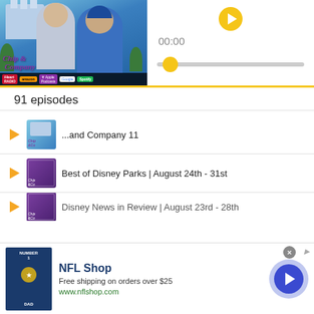[Figure (photo): Podcast cover art for 'Chip and Company' showing two men in front of Disney castle, with podcast platform badges (iHeart Radio, Amazon, Apple Podcasts, Google, Spotify)]
[Figure (other): Audio player with play button, time display showing 00:00, and a progress bar with yellow thumb at start]
91 episodes
[Figure (photo): Episode thumbnail for '...and Company 11']
...and Company 11
[Figure (photo): Episode thumbnail for 'Best of Disney Parks | August 24th - 31st']
Best of Disney Parks | August 24th - 31st
[Figure (photo): Episode thumbnail for 'Disney News in Review | August 23rd - 28th' (partially visible)]
Disney News in Review | August 23rd - 28th
[Figure (photo): NFL Shop advertisement showing a Dallas Cowboys #1 DAD jersey shirt]
NFL Shop
Free shipping on orders over $25
www.nflshop.com